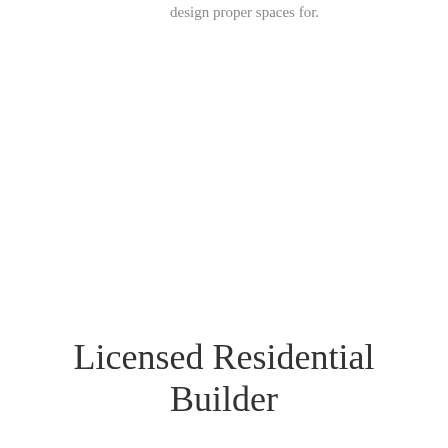design proper spaces for.
Licensed Residential Builder